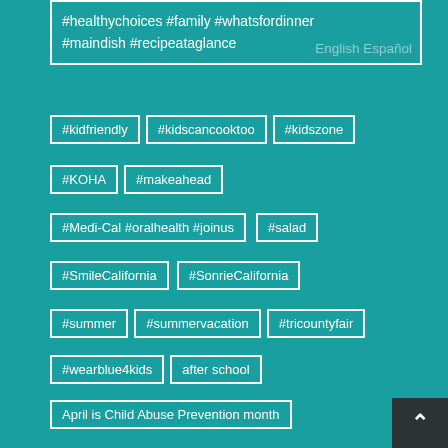#healthychoices #family #whatsfordinner #maindish #recipeataglance
English Español
#kidfriendly
#kidscancooktoo
#kidszone
#KOHA
#makeahead
#Medi-Cal #oralhealth #joinus
#salad
#SmileCalifornia
#SonrieCalifornia
#summer
#summervacation
#tricountyfair
#wearblue4kids
after school
April is Child Abuse Prevention month
brain development
Child Abuse Prevention
child development
Community in Unity
developmental play
Families
family
First 5 Inyo
flu
imagination library
Kids